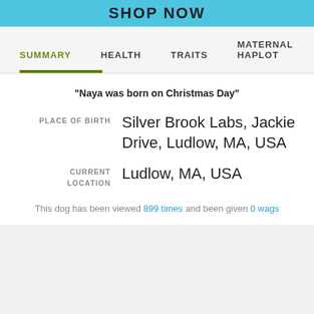[Figure (screenshot): Blue banner with SHOP NOW text]
SUMMARY   HEALTH   TRAITS   MATERNAL HAPLOT
"Naya was born on Christmas Day"
PLACE OF BIRTH   Silver Brook Labs, Jackie Drive, Ludlow, MA, USA
CURRENT LOCATION   Ludlow, MA, USA
This dog has been viewed 899 times and been given 0 wags
REGISTRATION